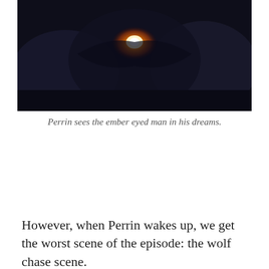[Figure (photo): Dark scene showing a creature or figure with glowing ember-like eyes in the center, surrounded by dark shadowy forms.]
Perrin sees the ember eyed man in his dreams.
However, when Perrin wakes up, we get the worst scene of the episode: the wolf chase scene. This chase just feels very artificial, with constant cuts that make it feel like they didn't want the audience to focus on the sketchiness of the wolf CGI. It really drags Perrin and Egwene's storyline down in this episode. Well, at least we follow this scene up by cutting back to the best storyline of the episode, Rand and Mat's, where we see them finding a small village, which serves as